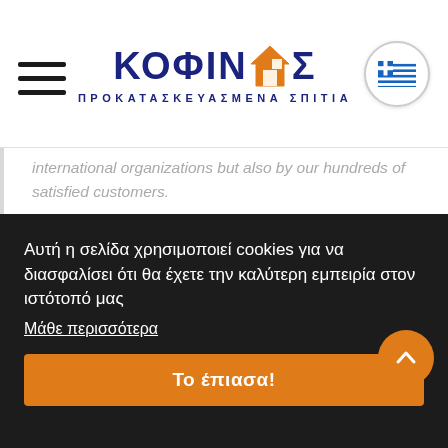ΚΟΦΙΝ ΑΣ - ΠΡΟΚΑΤΑΣΚΕΥΑΣΜΕΝΑ ΣΠΙΤΙΑ
international organizations but also by our hundreds of satisfied customers.
Our experimental trials are a landmark, certifying the robustness of our residences. Always looking into the energy efficiency of the constructions, we use
Αυτή η σελίδα χρησιμοποιεί cookies για να διασφαλίσει ότι θα έχετε την καλύτερη εμπειρία στον ιστότοπό μας
Μάθε περισσότερα
Το έπιασα!